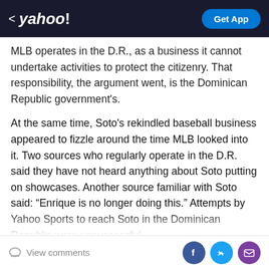yahoo! | Get App
MLB operates in the D.R., as a business it cannot undertake activities to protect the citizenry. That responsibility, the argument went, is the Dominican Republic government's.
At the same time, Soto's rekindled baseball business appeared to fizzle around the time MLB looked into it. Two sources who regularly operate in the D.R. said they have not heard anything about Soto putting on showcases. Another source familiar with Soto said: “Enrique is no longer doing this.” Attempts by Yahoo Sports to reach Soto in the Dominican Republic were unsuccessful.
It also...
View comments | Facebook | Twitter | Email